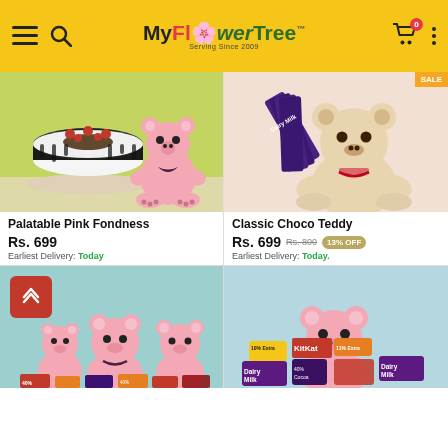MyFlowerTree — Serving Since 2009 — navigation header
[Figure (photo): Black forest cake with cherries and a pink teddy bear on yellow-green background]
Palatable Pink Fondness
Rs. 699
Earliest Delivery: Today
[Figure (photo): Beige teddy bear holding Dairy Milk chocolate bars with red checkered ribbon on light pink background]
Classic Choco Teddy
Rs. 699 Rs. 800 13% OFF
Earliest Delivery: Today
[Figure (photo): Three pink teddy bears with chocolates on teal background, with back-to-top red button]
[Figure (photo): Pink teddy bear with KitKat, Dairy Milk and other chocolates on light blue background]